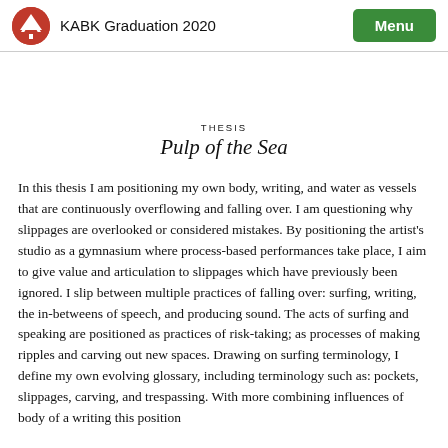KABK Graduation 2020  Menu
THESIS
Pulp of the Sea
In this thesis I am positioning my own body, writing, and water as vessels that are continuously overflowing and falling over. I am questioning why slippages are overlooked or considered mistakes. By positioning the artist's studio as a gymnasium where process-based performances take place, I aim to give value and articulation to slippages which have previously been ignored. I slip between multiple practices of falling over: surfing, writing, the in-betweens of speech, and producing sound. The acts of surfing and speaking are positioned as practices of risk-taking; as processes of making ripples and carving out new spaces. Drawing on surfing terminology, I define my own evolving glossary, including terminology such as: pockets, slippages, carving, and trespassing. With more combining influences of body of a writing this position